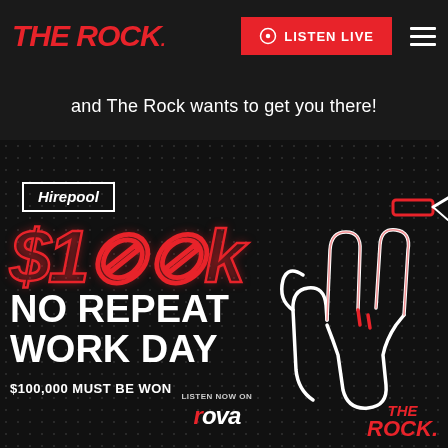THE ROCK. | LISTEN LIVE
and The Rock wants to get you there!
[Figure (illustration): Promotional graphic for The Rock radio station's $100k No Repeat Work Day contest sponsored by Hirepool. Dark dotted background with neon-style '$100k' text, white hand making rock sign, text reading 'NO REPEAT WORK DAY', '$100,000 MUST BE WON', 'LISTEN NOW ON rova', and The Rock logo.]